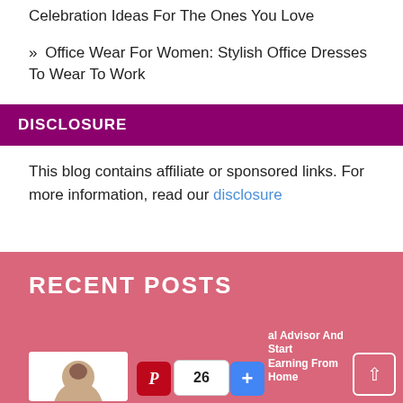Celebration Ideas For The Ones You Love
» Office Wear For Women: Stylish Office Dresses To Wear To Work
DISCLOSURE
This blog contains affiliate or sponsored links. For more information, read our disclosure
RECENT POSTS
[Figure (screenshot): Bottom footer area with thumbnail image of a person, Pinterest share button, count badge showing 26, plus button, advisor text, and scroll-to-top arrow button]